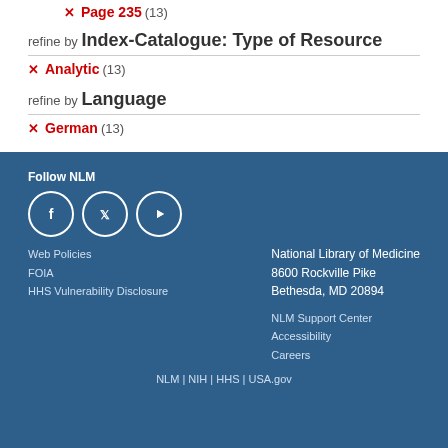Page 235 (13)
refine by Index-Catalogue: Type of Resource
Analytic (13)
refine by Language
German (13)
Follow NLM | Facebook | Twitter | YouTube | Web Policies | FOIA | HHS Vulnerability Disclosure | National Library of Medicine 8600 Rockville Pike Bethesda, MD 20894 | NLM Support Center | Accessibility | Careers | NLM | NIH | HHS | USA.gov